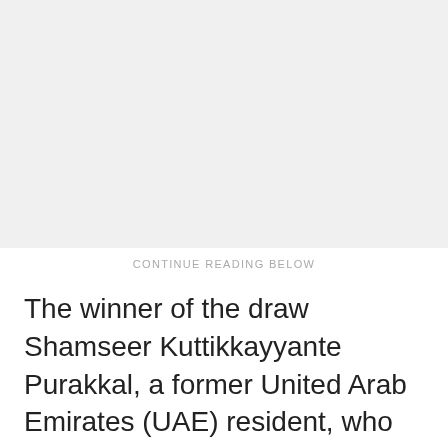[Figure (other): Advertisement placeholder block (gray background)]
CONTINUE READING BELOW
The winner of the draw Shamseer Kuttikkayyante Purakkal, a former United Arab Emirates (UAE) resident, who hails from Kerala's Malappuram district and has been living in Qatar for the past three years and works as a stock controller.